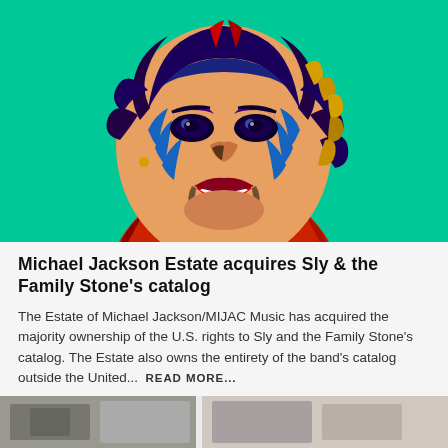[Figure (illustration): Andy Warhol-style pop art portrait of Michael Jackson with teal/green background, colorful stylized face in blue, orange, red, purple tones, smiling expression]
Michael Jackson Estate acquires Sly & the Family Stone's catalog
The Estate of Michael Jackson/MIJAC Music has acquired the majority ownership of the U.S. rights to Sly and the Family Stone's catalog. The Estate also owns the entirety of the band's catalog outside the United… READ MORE...
[Figure (photo): Small thumbnail photo at bottom left, grayscale or muted color image]
[Figure (photo): Small thumbnail photo at bottom right, partial view]